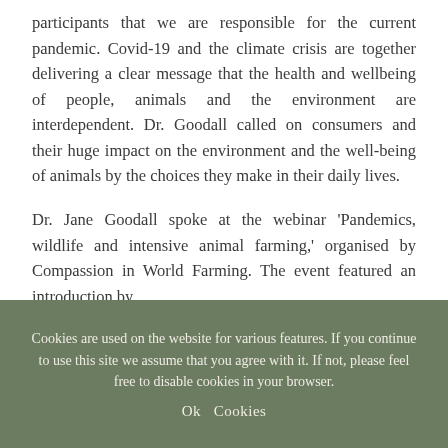participants that we are responsible for the current pandemic. Covid-19 and the climate crisis are together delivering a clear message that the health and wellbeing of people, animals and the environment are interdependent. Dr. Goodall called on consumers and their huge impact on the environment and the well-being of animals by the choices they make in their daily lives.
Dr. Jane Goodall spoke at the webinar 'Pandemics, wildlife and intensive animal farming,' organised by Compassion in World Farming. The event featured an introduction by
Cookies are used on the website for various features. If you continue to use this site we assume that you agree with it. If not, please feel free to disable cookies in your browser.
Ok  Cookies